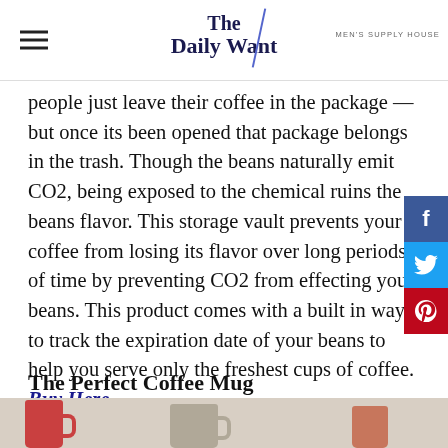The Daily Want | MEN'S SUPPLY HOUSE
people just leave their coffee in the package — but once its been opened that package belongs in the trash. Though the beans naturally emit CO2, being exposed to the chemical ruins the beans flavor. This storage vault prevents your coffee from losing its flavor over long periods of time by preventing CO2 from effecting your beans. This product comes with a built in way to track the expiration date of your beans to help you serve only the freshest cups of coffee. Buy Here
The Perfect Coffee Mug
[Figure (photo): Bottom strip showing coffee mugs on a light background]